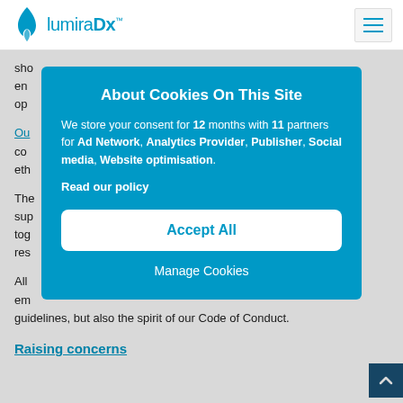[Figure (logo): LumiraDx logo with blue flame icon and teal text]
sho... en... op...
Ou... co... eth...
The... su... to... re...
All em... guidelines, but also the spirit of our Code of Conduct.
Raising concerns
About Cookies On This Site

We store your consent for 12 months with 11 partners for Ad Network, Analytics Provider, Publisher, Social media, Website optimisation.

Read our policy

Accept All

Manage Cookies